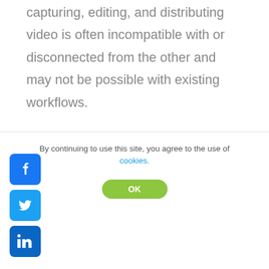capturing, editing, and distributing video is often incompatible with or disconnected from the other and may not be possible with existing workflows.
Filespaces provides a centralized repository with unlimited access to
By continuing to use this site, you agree to the use of cookies.
[Figure (screenshot): Cookie consent overlay with OK button, Facebook, Twitter, and LinkedIn share icons]